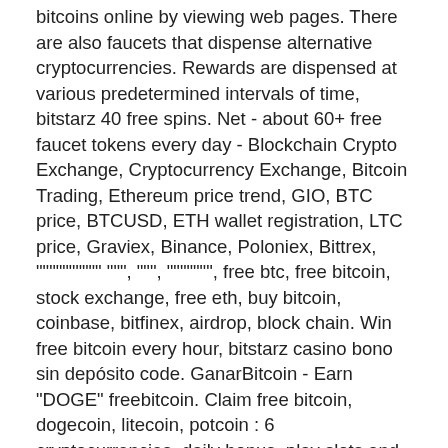bitcoins online by viewing web pages. There are also faucets that dispense alternative cryptocurrencies. Rewards are dispensed at various predetermined intervals of time, bitstarz 40 free spins. Net - about 60+ free faucet tokens every day - Blockchain Crypto Exchange, Cryptocurrency Exchange, Bitcoin Trading, Ethereum price trend, GIO, BTC price, BTCUSD, ETH wallet registration, LTC price, Graviex, Binance, Poloniex, Bittrex, """""""""" """, """, """"""", free btc, free bitcoin, stock exchange, free eth, buy bitcoin, coinbase, bitfinex, airdrop, block chain. Win free bitcoin every hour, bitstarz casino bono sin depósito code. GanarBitcoin - Earn "DOGE" freebitcoin. Claim free bitcoin, dogecoin, litecoin, potcoin : 6 cryptocurrencies, daily bonus, play slots and dice, PTC ads, all in one place, bitstarz promo code freispiele. It's pretty price enough for me. Personally, if all website owners and bloggers made excellent content